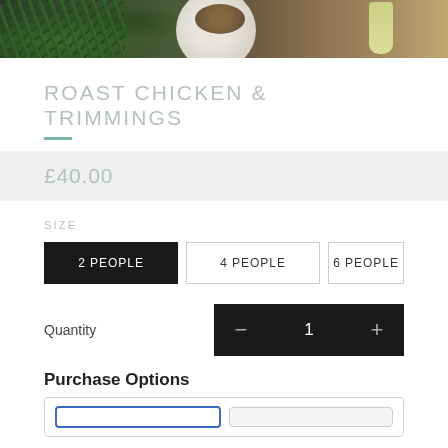[Figure (photo): Top portion of a food product page showing a dark-toned photo of roast food with herbs, a white plate with food, and a glass of white wine on a wooden surface]
ROAST CHICKEN & TRIMMINGS
£40.00
SIZE
2 PEOPLE (selected/active)
4 PEOPLE
6 PEOPLE
Quantity
− 1 +
Purchase Options